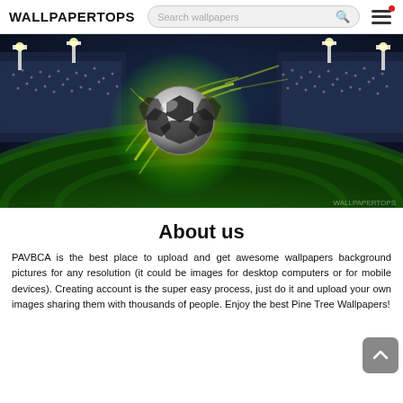WALLPAPERTOPS
[Figure (photo): A soccer ball glowing with yellow-green light energy trails flying over a stadium field at night, with floodlights illuminating packed stands in the background.]
About us
PAVBCA is the best place to upload and get awesome wallpapers background pictures for any resolution (it could be images for desktop computers or for mobile devices). Creating account is the super easy process, just do it and upload your own images sharing them with thousands of people. Enjoy the best Pine Tree Wallpapers!